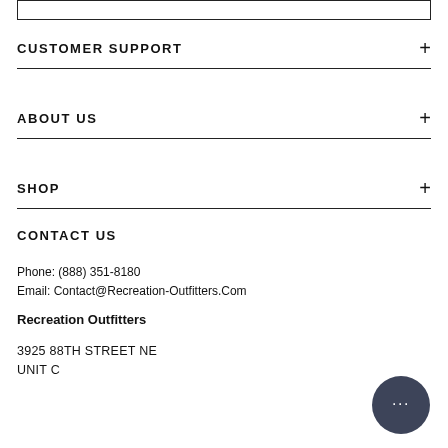CUSTOMER SUPPORT
ABOUT US
SHOP
CONTACT US
Phone: (888) 351-8180
Email: Contact@Recreation-Outfitters.Com
Recreation Outfitters
3925 88TH STREET NE
UNIT C